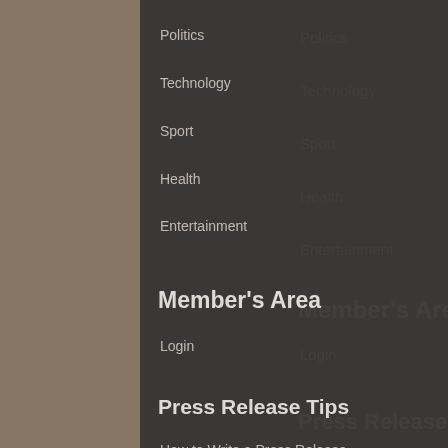Politics
Technology
Sport
Health
Entertainment
Member's Area
Login
Press Release Tips
How to Write a Press Release
Media Alert Template
How to Format Stock Symbol
Common Mistakes
Press Release Template
Top Reasons for Rejection
URGENT - Time Sensitive